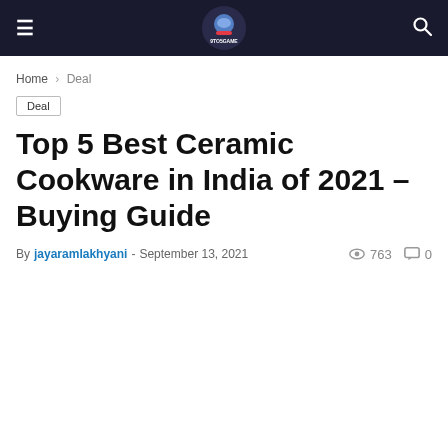9to5game navigation bar with hamburger menu, logo, and search icon
Home › Deal
Deal
Top 5 Best Ceramic Cookware in India of 2021 – Buying Guide
By jayaramlakhyani - September 13, 2021   763   0